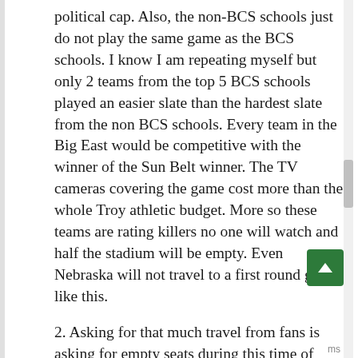political cap. Also, the non-BCS schools just do not play the same game as the BCS schools. I know I am repeating myself but only 2 teams from the top 5 BCS schools played an easier slate than the hardest slate from the non BCS schools. Every team in the Big East would be competitive with the winner of the Sun Belt winner. The TV cameras covering the game cost more than the whole Troy athletic budget. More so these teams are rating killers no one will watch and half the stadium will be empty. Even Nebraska will not travel to a first round game like this.
2. Asking for that much travel from fans is asking for empty seats during this time of year. Even rich alum that could afford to go to each "bowl" playoff game are in a time crunch because of Christmas. Right now the bowls do